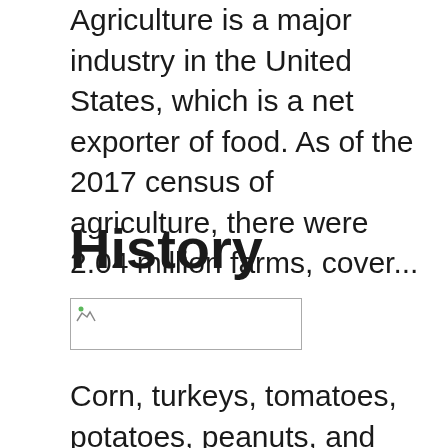Agriculture is a major industry in the United States, which is a net exporter of food. As of the 2017 census of agriculture, there were 2.04 million farms, cover...
History
[Figure (photo): A small broken/placeholder image icon in the top-left corner of a bordered rectangle]
Corn, turkeys, tomatoes, potatoes, peanuts, and sunflower seeds constitute some of the major holdovers from the agricultural endowment of the Americas.
Colonists had more access to land in the